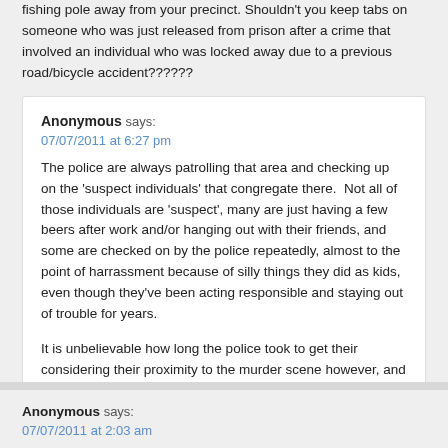fishing pole away from your precinct. Shouldn't you keep tabs on someone who was just released from prison after a crime that involved an individual who was locked away due to a previous road/bicycle accident??????
Anonymous says:
07/07/2011 at 6:27 pm

The police are always patrolling that area and checking up on the 'suspect individuals' that congregate there.  Not all of those individuals are 'suspect', many are just having a few beers after work and/or hanging out with their friends, and some are checked on by the police repeatedly, almost to the point of harrassment because of silly things they did as kids, even though they've been acting responsible and staying out of trouble for years.

It is unbelievable how long the police took to get their considering their proximity to the murder scene however, and it even more unbelievable how lightly the accused got off with a manslaughter verdict and only 7 years… disgusting.
Anonymous says:
07/07/2011 at 2:03 am